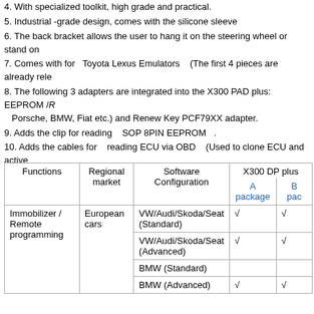4. With specialized toolkit, high grade and practical.
5. Industrial -grade design, comes with the silicone sleeve
6. The back bracket allows the user to hang it on the steering wheel or stand on
7. Comes with for  Toyota Lexus Emulators   (The first 4 pieces are already rele
8. The following 3 adapters are integrated into the X300 PAD plus: EEPROM /R Porsche, BMW, Fiat etc.) and Renew Key PCF79XX adapter.
9. Adds the clip for reading   SOP 8PIN EEPROM  .
10. Adds the cables for   reading ECU via OBD   (Used to clone ECU and active
Different among OBDSTAR X300 DP Plus C Package (Full Version), A Package
| Functions | Regional market | Software Configuration | X300 DP plus A package | X300 DP plus B pac |
| --- | --- | --- | --- | --- |
| Immobilizer / Remote programming | European cars | VW/Audi/Skoda/Seat (Standard) | √ | √ |
|  |  | VW/Audi/Skoda/Seat (Advanced) | √ | √ |
|  |  | BMW (Standard) |  |  |
|  |  | BMW (Advanced) | √ | √ |